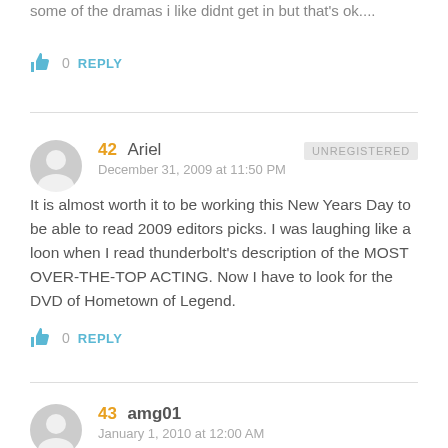some of the dramas i like didnt get in but that's ok....
👍 0  REPLY
42  Ariel  UNREGISTERED
December 31, 2009 at 11:50 PM
It is almost worth it to be working this New Years Day to be able to read 2009 editors picks. I was laughing like a loon when I read thunderbolt's description of the MOST OVER-THE-TOP ACTING. Now I have to look for the DVD of Hometown of Legend.
👍 0  REPLY
43  amg01
January 1, 2010 at 12:00 AM